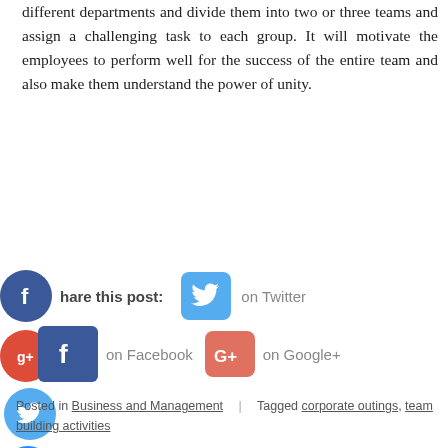different departments and divide them into two or three teams and assign a challenging task to each group. It will motivate the employees to perform well for the success of the entire team and also make them understand the power of unity.
[Figure (infographic): Social media share buttons: Facebook circle icon with 'Share this post:' label, Twitter rounded square icon with 'on Twitter', Google+ red circle, Facebook blue square with 'on Facebook', Google+ coral square with 'on Google+', Twitter circle, and a blue plus circle.]
Posted in Business and Management | Tagged corporate outings, team building activities